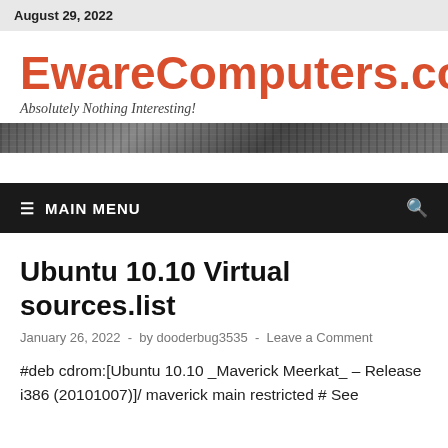August 29, 2022
EwareComputers.com
Absolutely Nothing Interesting!
[Figure (photo): Decorative banner image with dark gray photographic strip]
≡ MAIN MENU
Ubuntu 10.10 Virtual sources.list
January 26, 2022  -  by dooderbug3535  -  Leave a Comment
#deb cdrom:[Ubuntu 10.10 _Maverick Meerkat_ – Release i386 (20101007)]/ maverick main restricted # See